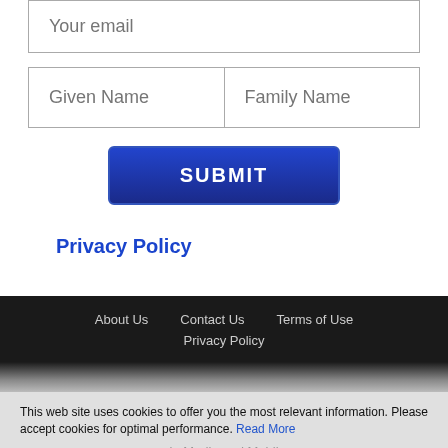Your email
Given Name | Family Name
SUBMIT
Privacy Policy
About Us   Contact Us   Terms of Use
Privacy Policy
This web site uses cookies to offer you the most relevant information. Please accept cookies for optimal performance. Read More
Accept   Decline   Cookie Settings